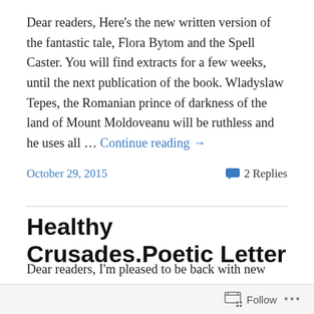Dear readers, Here's the new written version of the fantastic tale, Flora Bytom and the Spell Caster. You will find extracts for a few weeks, until the next publication of the book. Wladyslaw Tepes, the Romanian prince of darkness of the land of Mount Moldoveanu will be ruthless and he uses all … Continue reading →
October 29, 2015    2 Replies
Healthy Crusades.Poetic Letter
Dear readers, I'm pleased to be back with new publications, enriched, that you discover in the coming weeks. Here also a new poetic letter entitled: Healthy